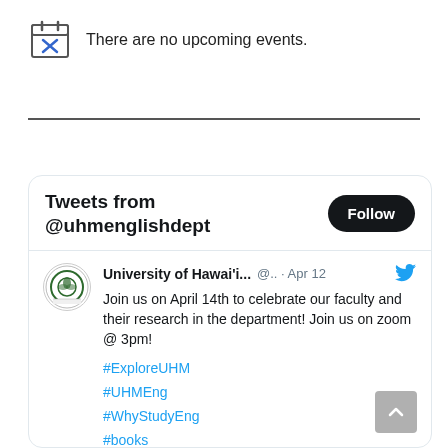There are no upcoming events.
[Figure (illustration): Calendar icon with an X mark in blue]
Tweets from @uhmenglishdept
University of Hawai'i... @.. · Apr 12
Join us on April 14th to celebrate our faculty and their research in the department! Join us on zoom @ 3pm!

#ExploreUHM
#UHMEng
#WhyStudyEng
#books
#writing